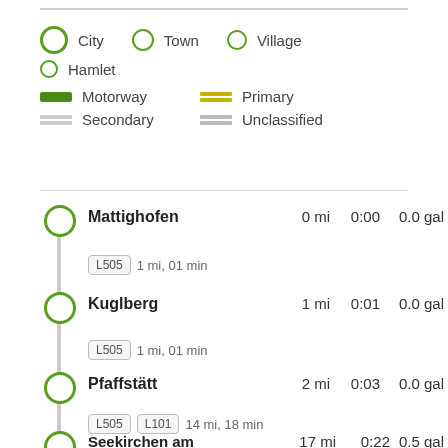City   Town   Village   Hamlet
Motorway   Primary   Secondary   Unclassified
Mattighofen   0 mi   0:00   0.0 gal
L505   1 mi, 01 min
Kuglberg   1 mi   0:01   0.0 gal
L505   1 mi, 01 min
Pfaffstätt   2 mi   0:03   0.0 gal
L505   L101   14 mi, 18 min
Seekirchen am   17 mi   0:22   0.5 gal